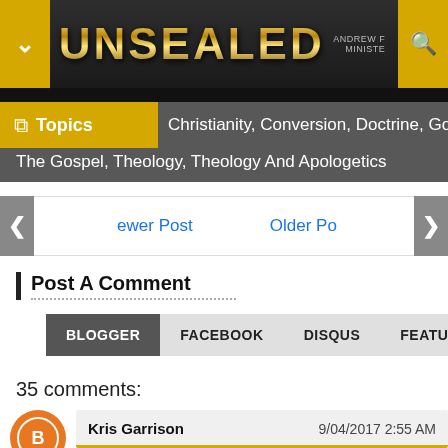UNSEALED
Topics  Christianity,  Conversion,  Doctrine,  Gospel,  Spotlight,  The Gospel,  Theology,  Theology And Apologetics
Newer Post   Older Post
Post A Comment
BLOGGER   FACEBOOK   DISQUS   FEATURES
35 comments:
Kris Garrison   9/04/2017 2:55 AM